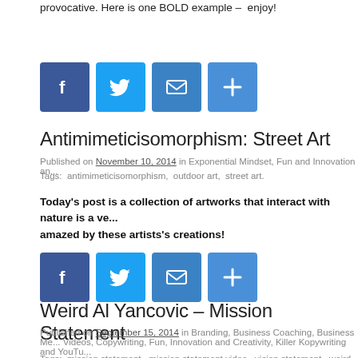provocative. Here is one BOLD example – enjoy!
[Figure (infographic): Social share buttons: Facebook, Twitter, Email, Share (plus icon) — blue rounded square icons]
Antimimeticisomorphism: Street Art
Published on November 10, 2014 in Exponential Mindset, Fun and Innovation an...
Tags: antimimeticisomorphism, outdoor art, street art.
Today's post is a collection of artworks that interact with nature is a ve... amazed by these artists's creations!
[Figure (infographic): Social share buttons: Facebook, Twitter, Email, Share (plus icon) — blue rounded square icons]
Weird Al Yancovic – Mission Statement
Published on September 15, 2014 in Branding, Business Coaching, Business Me... Videos, Copywriting, Fun, Innovation and Creativity, Killer Kopywriting and YouTu...
Tags: mission statement, mission statement video, vision statement, weird al yan...
I am not into buzzwords and business jargon even though I have my ow...